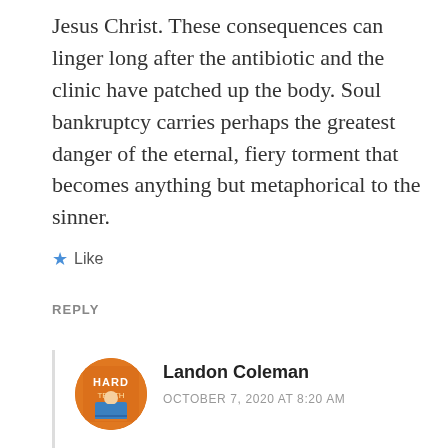Jesus Christ. These consequences can linger long after the antibiotic and the clinic have patched up the body. Soul bankruptcy carries perhaps the greatest danger of the eternal, fiery torment that becomes anything but metaphorical to the sinner.
★ Like
REPLY
Landon Coleman
OCTOBER 7, 2020 AT 8:20 AM
I agree 100% … the consequences of sin are not enough to turn the fool from his or her folly. I think this is true on an earthly / temporal level, as well as in the afterlife. That is, there